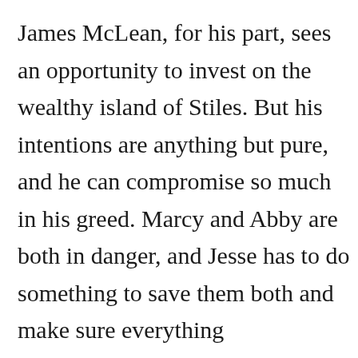James McLean, for his part, sees an opportunity to invest on the wealthy island of Stiles. But his intentions are anything but pure, and he can compromise so much in his greed. Marcy and Abby are both in danger, and Jesse has to do something to save them both and make sure everything
[Figure (screenshot): Video player overlay showing 'No compatible source was found for this media' error message with a Pure Earth advertisement banner overlaid. The ad reads: 'We believe the global pollution crisis can be solved.' with Pure Earth logo.]